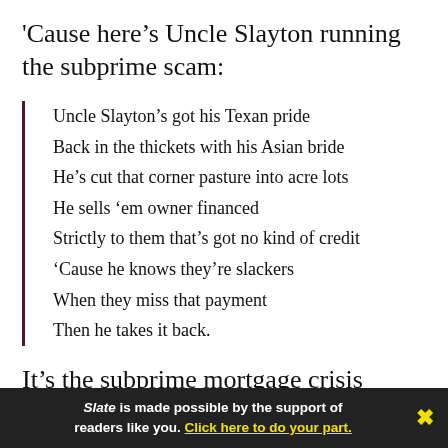'Cause here's Uncle Slayton running the subprime scam:
Uncle Slayton's got his Texan pride
Back in the thickets with his Asian bride
He's cut that corner pasture into acre lots
He sells 'em owner financed
Strictly to them that's got no kind of credit
'Cause he knows they're slackers
When they miss that payment
Then he takes it back.
It's the subprime mortgage crisis bubbling away as
Slate is made possible by the support of readers like you. Click here to do your part.